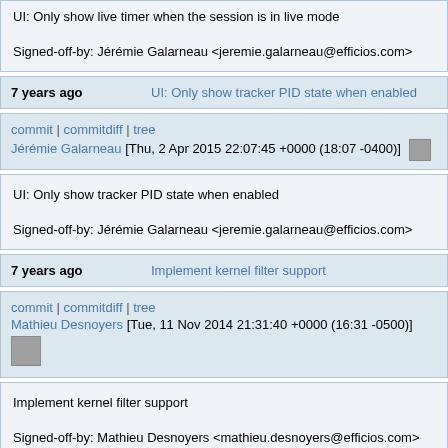UI: Only show live timer when the session is in live mode

Signed-off-by: Jérémie Galarneau <jeremie.galarneau@efficios.com>
7 years ago   UI: Only show tracker PID state when enabled
commit | commitdiff | tree
Jérémie Galarneau [Thu, 2 Apr 2015 22:07:45 +0000 (18:07 -0400)]
UI: Only show tracker PID state when enabled

Signed-off-by: Jérémie Galarneau <jeremie.galarneau@efficios.com>
7 years ago   Implement kernel filter support
commit | commitdiff | tree
Mathieu Desnoyers [Tue, 11 Nov 2014 21:31:40 +0000 (16:31 -0500)]
Implement kernel filter support

Signed-off-by: Mathieu Desnoyers <mathieu.desnoyers@efficios.com>